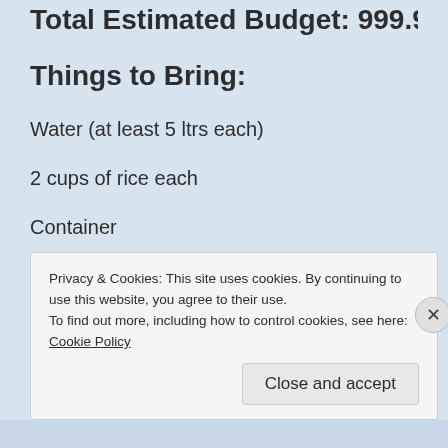Total Estimated Budget: 999.95
Things to Bring:
Water (at least 5 ltrs each)
2 cups of rice each
Container
Eating utensils
Privacy & Cookies: This site uses cookies. By continuing to use this website, you agree to their use.
To find out more, including how to control cookies, see here: Cookie Policy
Close and accept